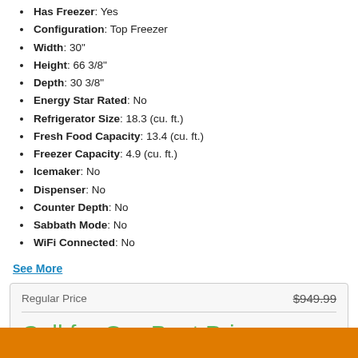Style: Freestanding
Has Freezer: Yes
Configuration: Top Freezer
Width: 30"
Height: 66 3/8"
Depth: 30 3/8"
Energy Star Rated: No
Refrigerator Size: 18.3 (cu. ft.)
Fresh Food Capacity: 13.4 (cu. ft.)
Freezer Capacity: 4.9 (cu. ft.)
Icemaker: No
Dispenser: No
Counter Depth: No
Sabbath Mode: No
WiFi Connected: No
See More
| Regular Price | $949.99 |
| --- | --- |
Call for Our Best Price
Rebate Available
See Details